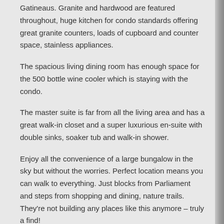Gatineaus. Granite and hardwood are featured throughout, huge kitchen for condo standards offering great granite counters, loads of cupboard and counter space, stainless appliances.
The spacious living dining room has enough space for the 500 bottle wine cooler which is staying with the condo.
The master suite is far from all the living area and has a great walk-in closet and a super luxurious en-suite with double sinks, soaker tub and walk-in shower.
Enjoy all the convenience of a large bungalow in the sky but without the worries. Perfect location means you can walk to everything. Just blocks from Parliament and steps from shopping and dining, nature trails. They're not building any places like this anymore – truly a find!
Contact Eric by email or at 613-239-2801 for other great